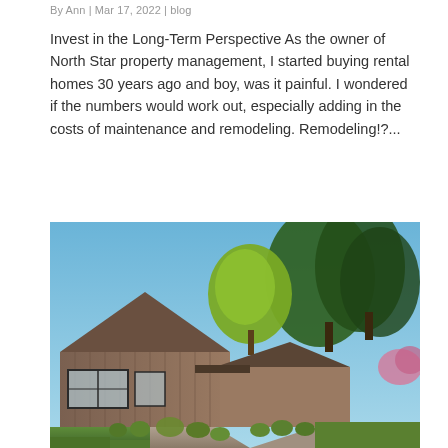By Ann | Mar 17, 2022 | blog
Invest in the Long-Term Perspective As the owner of North Star property management, I started buying rental homes 30 years ago and boy, was it painful. I wondered if the numbers would work out, especially adding in the costs of maintenance and remodeling. Remodeling!?...
[Figure (photo): Exterior photo of a mid-century modern ranch-style home with brown vertical wood siding, large windows, a covered entryway, lush green ornamental grasses and shrubs along a stone pathway, mature trees in the background under a clear blue sky.]